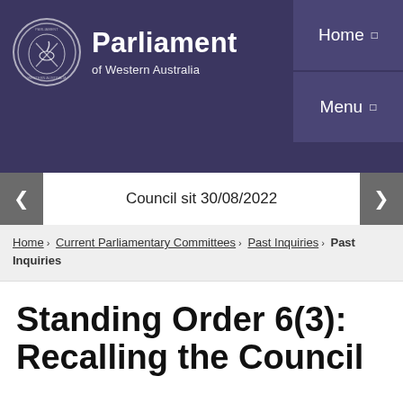[Figure (logo): Parliament of Western Australia logo with swan emblem in circular seal]
Parliament of Western Australia
Home   Menu
Council sit 30/08/2022
Home › Current Parliamentary Committees › Past Inquiries › Past Inquiries
Standing Order 6(3): Recalling the Council